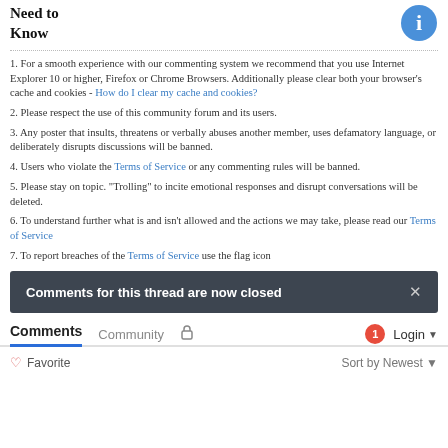Need to Know
1. For a smooth experience with our commenting system we recommend that you use Internet Explorer 10 or higher, Firefox or Chrome Browsers. Additionally please clear both your browser's cache and cookies - How do I clear my cache and cookies?
2. Please respect the use of this community forum and its users.
3. Any poster that insults, threatens or verbally abuses another member, uses defamatory language, or deliberately disrupts discussions will be banned.
4. Users who violate the Terms of Service or any commenting rules will be banned.
5. Please stay on topic. "Trolling" to incite emotional responses and disrupt conversations will be deleted.
6. To understand further what is and isn't allowed and the actions we may take, please read our Terms of Service
7. To report breaches of the Terms of Service use the flag icon
Comments for this thread are now closed
Comments  Community   1  Login
Favorite  Sort by Newest